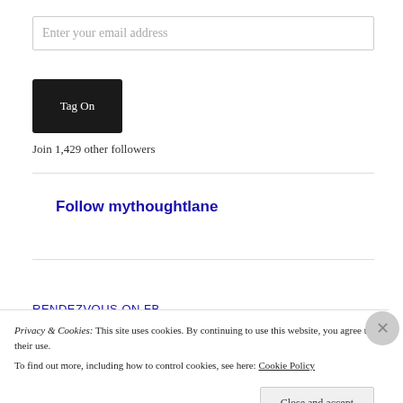Enter your email address
Tag On
Join 1,429 other followers
Follow mythoughtlane
RENDEZVOUS ON FB
Privacy & Cookies: This site uses cookies. By continuing to use this website, you agree to their use.
To find out more, including how to control cookies, see here: Cookie Policy
Close and accept